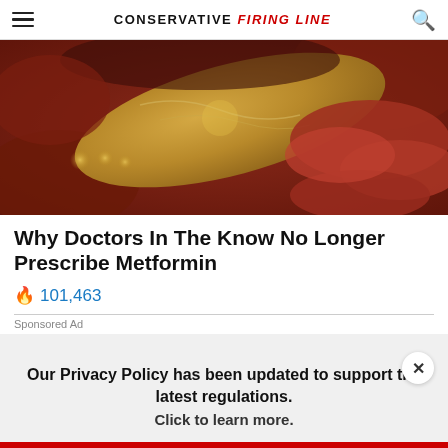CONSERVATIVE FIRING LINE
[Figure (photo): Close-up medical photograph of internal human organs, showing reddish-brown tissue with a yellowish/cream-colored organ in the center, likely depicting abdominal organs.]
Why Doctors In The Know No Longer Prescribe Metformin
🔥 101,463
Sponsored Ad
Our Privacy Policy has been updated to support the latest regulations. Click to learn more.